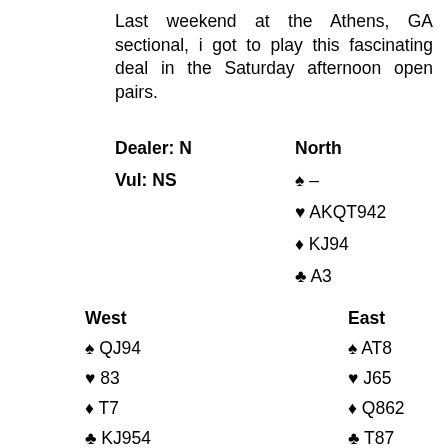Last weekend at the Athens, GA sectional, i got to play this fascinating deal in the Saturday afternoon open pairs.
Dealer: N   North
Vul: NS   ♠ –
♥ AKQT942
♦ KJ94
♣ A3
West   East
♠ QJ94   ♠ AT8
♥ 83   ♥ J65
♦ T7   ♦ Q862
♣ KJ954   ♣ T87
South
♠ K76532
♥ 7